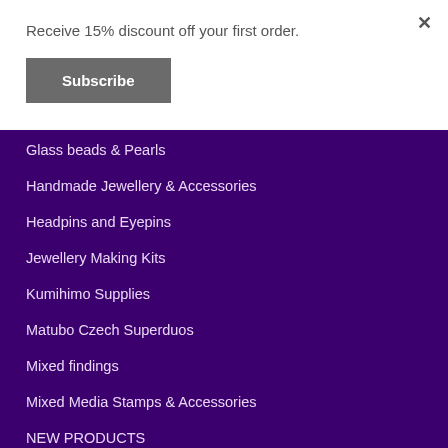Receive 15% discount off your first order.
Subscribe
Glass beads & Pearls
Handmade Jewellery & Accessories
Headpins and Eyepins
Jewellery Making Kits
Kumihimo Supplies
Matubo Czech Superduos
Mixed findings
Mixed Media Stamps & Accessories
NEW PRODUCTS